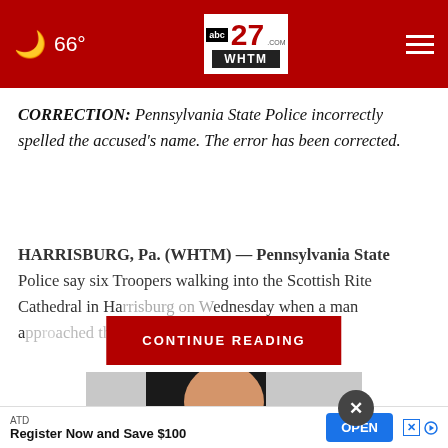66° — abc 27 WHTM.COM — navigation
CORRECTION: Pennsylvania State Police incorrectly spelled the accused's name. The error has been corrected.
HARRISBURG, Pa. (WHTM) — Pennsylvania State Police say six Troopers walking into the Scottish Rite Cathedral in Ha... ednesday when a man a... ...the grou...
[Figure (screenshot): CONTINUE READING button overlay in dark red]
[Figure (photo): Partial photo of a person, partially obscured by ad banner]
ATD
Register Now and Save $100   OPEN